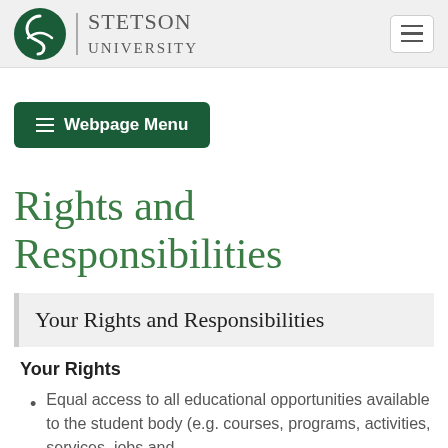[Figure (logo): Stetson University logo with green S icon and university name]
Stetson University navigation bar with hamburger menu button
≡ Webpage Menu
Rights and Responsibilities
Your Rights and Responsibilities
Your Rights
Equal access to all educational opportunities available to the student body (e.g. courses, programs, activities, services, jobs and